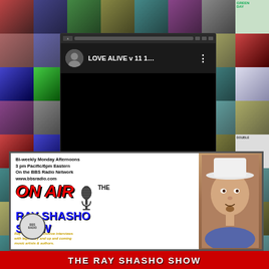[Figure (screenshot): Background collage of rock music album covers arranged in a grid pattern]
[Figure (screenshot): Black video player area showing a YouTube-style interface with a circular avatar thumbnail, title 'LOVE ALIVE v 11 1...' and three-dot menu icon on dark background]
[Figure (infographic): The Ray Shasho Show promotional banner. Text reads: 'Bi-weekly Monday Afternoons / 3 pm Pacific/6pm Eastern / On the BBS Radio Network / www.bbsradio.com'. Features ON AIR graphic with microphone, show title 'THE RAY SHASHO SHOW' in blue letters, BBS Radio logo, photo of Ray Shasho, and tagline 'Ray spotlights exclusive interviews with legendary and up and coming music artists & authors.']
THE RAY SHASHO SHOW